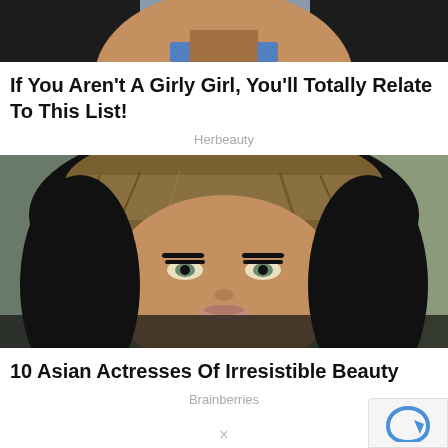[Figure (photo): Partial photo of a woman cropped at top, showing dark hair and blue collar, cut off at top of frame]
If You Aren't A Girly Girl, You'll Totally Relate To This List!
Herbeauty
[Figure (photo): Portrait photo of an Asian woman wearing a patterned headscarf, with dramatic eye makeup and light eyes, looking directly at camera]
10 Asian Actresses Of Irresistible Beauty
Brainberries